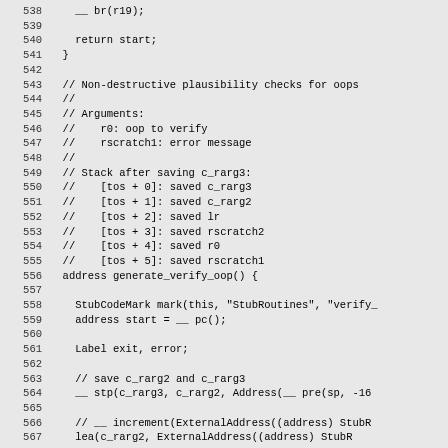Source code listing, lines 538-567, showing assembly stub routines for OOP verification in a JVM/runtime context.